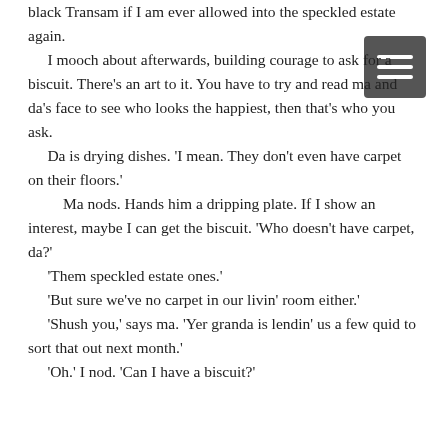black Transam if I am ever allowed into the speckled estate again.
 I mooch about afterwards, building courage to ask for a biscuit. There’s an art to it. You have to try and read ma and da’s face to see who looks the happiest, then that’s who you ask.
 Da is drying dishes. ‘I mean. They don’t even have carpet on their floors.’
  Ma nods. Hands him a dripping plate. If I show an interest, maybe I can get the biscuit. ‘Who doesn’t have carpet, da?’
 ‘Them speckled estate ones.’
 ‘But sure we’ve no carpet in our livin’ room either.’
 ‘Shush you,’ says ma. ‘Yer granda is lendin’ us a few quid to sort that out next month.’
 ‘Oh.’ I nod. ‘Can I have a biscuit?’